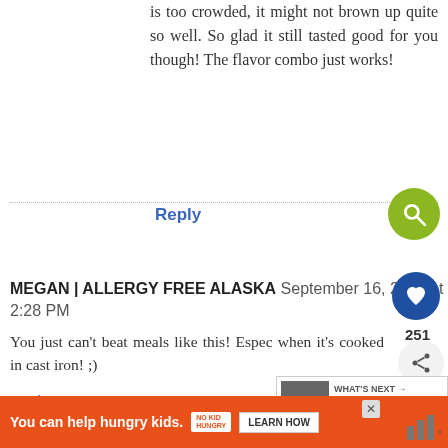is too crowded, it might not brown up quite so well. So glad it still tasted good for you though! The flavor combo just works!
Reply
MEGAN | ALLERGY FREE ALASKA September 16, 2014 at 2:28 PM
You just can't beat meals like this! Espec when it's cooked in cast iron! ;)
Reply
WHAT'S NEXT → Sheet Pan Eggplant...
You can help hungry kids. NO KID HUNGRY LEARN HOW